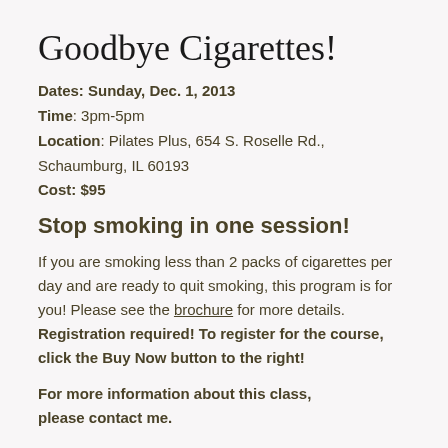Goodbye Cigarettes!
Dates: Sunday, Dec. 1, 2013
Time: 3pm-5pm
Location: Pilates Plus, 654 S. Roselle Rd., Schaumburg, IL 60193
Cost: $95
Stop smoking in one session!
If you are smoking less than 2 packs of cigarettes per day and are ready to quit smoking, this program is for you! Please see the brochure for more details. Registration required! To register for the course, click the Buy Now button to the right!
For more information about this class, please contact me.